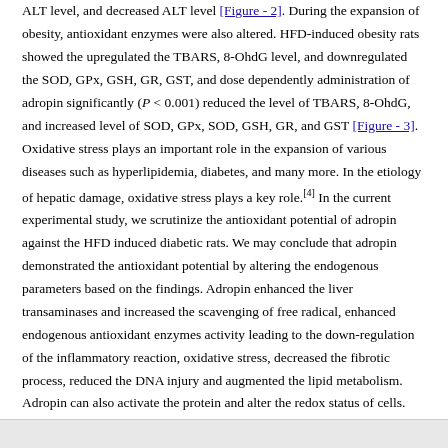ALT level, and decreased ALT level [Figure - 2]. During the expansion of obesity, antioxidant enzymes were also altered. HFD-induced obesity rats showed the upregulated the TBARS, 8-OhdG level, and downregulated the SOD, GPx, GSH, GR, GST, and dose dependently administration of adropin significantly (P < 0.001) reduced the level of TBARS, 8-OhdG, and increased level of SOD, GPx, SOD, GSH, GR, and GST [Figure - 3]. Oxidative stress plays an important role in the expansion of various diseases such as hyperlipidemia, diabetes, and many more. In the etiology of hepatic damage, oxidative stress plays a key role.[4] In the current experimental study, we scrutinize the antioxidant potential of adropin against the HFD induced diabetic rats. We may conclude that adropin demonstrated the antioxidant potential by altering the endogenous parameters based on the findings. Adropin enhanced the liver transaminases and increased the scavenging of free radical, enhanced endogenous antioxidant enzymes activity leading to the down-regulation of the inflammatory reaction, oxidative stress, decreased the fibrotic process, reduced the DNA injury and augmented the lipid metabolism. Adropin can also activate the protein and alter the redox status of cells. The current process affects the transcriptional reaction and cell signaling elaborates the lipid and glucose metabolism.